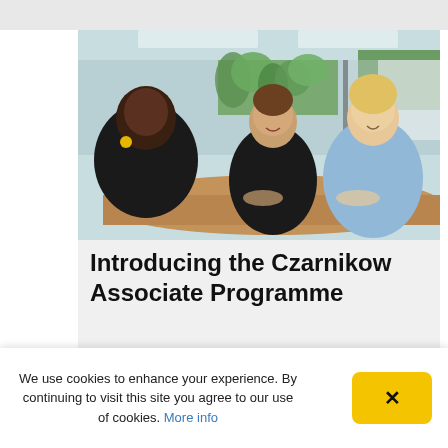[Figure (photo): Three people sitting at a round table in a modern office with plants. A woman with her back to the camera faces two young men who are smiling.]
Introducing the Czarnikow Associate Programme
We use cookies to enhance your experience. By continuing to visit this site you agree to our use of cookies. More info